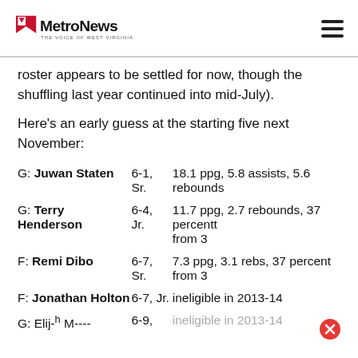MetroNews — THE VOICE OF WEST VIRGINIA
roster appears to be settled for now, though the shuffling last year continued into mid-July).
Here's an early guess at the starting five next November:
| Position/Name | Ht/Yr | Stats |
| --- | --- | --- |
| G: Juwan Staten | 6-1, Sr. | 18.1 ppg, 5.8 assists, 5.6 rebounds |
| G: Terry Henderson | 6-4, Jr. | 11.7 ppg, 2.7 rebounds, 37 percentt from 3 |
| F: Remi Dibo | 6-7, Sr. | 7.3 ppg, 3.1 rebs, 37 percent from 3 |
| F: Jonathan Holton | 6-7, Jr. | ineligible in 2013-14 |
| G: Elij- M---- | 6-9, | ineligible in 2013-14 |